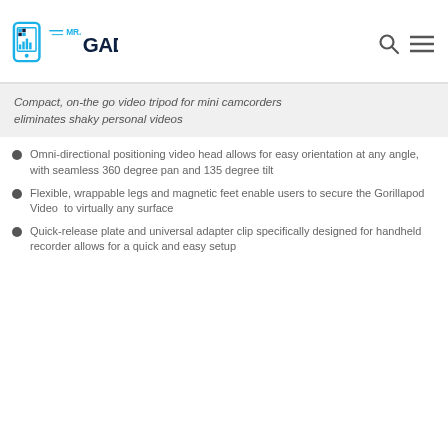[Figure (logo): Mr. Gadget logo with stylized smartphone icon and blue/dark navy text]
Compact, on-the go video tripod for mini camcorders eliminates shaky personal videos
Omni-directional positioning video head allows for easy orientation at any angle, with seamless 360 degree pan and 135 degree tilt
Flexible, wrappable legs and magnetic feet enable users to secure the Gorillapod Video  to virtually any surface
Quick-release plate and universal adapter clip specifically designed for handheld recorder allows for a quick and easy setup